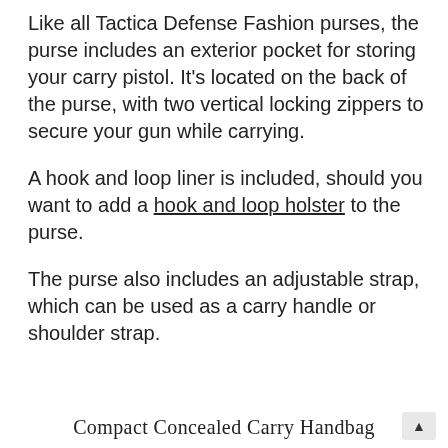Like all Tactica Defense Fashion purses, the purse includes an exterior pocket for storing your carry pistol. It's located on the back of the purse, with two vertical locking zippers to secure your gun while carrying.
A hook and loop liner is included, should you want to add a hook and loop holster to the purse.
The purse also includes an adjustable strap, which can be used as a carry handle or shoulder strap.
Compact Concealed Carry Handbag